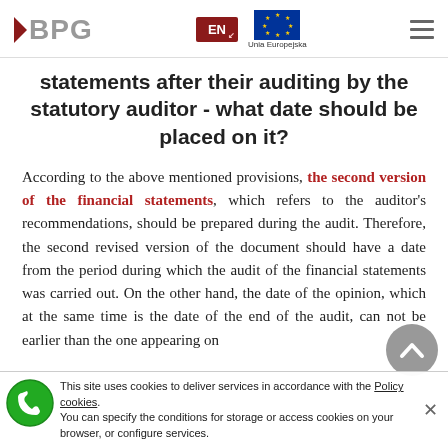BPG | EN | Unia Europejska
statements after their auditing by the statutory auditor - what date should be placed on it?
According to the above mentioned provisions, the second version of the financial statements, which refers to the auditor's recommendations, should be prepared during the audit. Therefore, the second revised version of the document should have a date from the period during which the audit of the financial statements was carried out. On the other hand, the date of the opinion, which at the same time is the date of the end of the audit, can not be earlier than the one appearing on
This site uses cookies to deliver services in accordance with the Policy cookies. You can specify the conditions for storage or access cookies on your browser, or configure services.